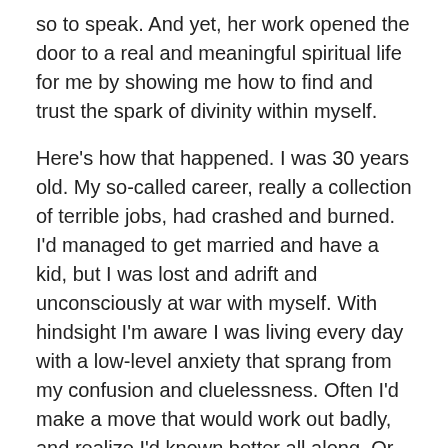so to speak. And yet, her work opened the door to a real and meaningful spiritual life for me by showing me how to find and trust the spark of divinity within myself.
Here's how that happened. I was 30 years old. My so-called career, really a collection of terrible jobs, had crashed and burned. I'd managed to get married and have a kid, but I was lost and adrift and unconsciously at war with myself. With hindsight I'm aware I was living every day with a low-level anxiety that sprang from my confusion and cluelessness. Often I'd make a move that would work out badly, and realize I'd known better all along. Or I'd feel a strong pull to do something and yet hang back in fear. I would hit these speed bumps all the time and then go back about my business, aware that something was wrong but always blaming it on other people or my circumstances, which if I stepped to consider, theaint